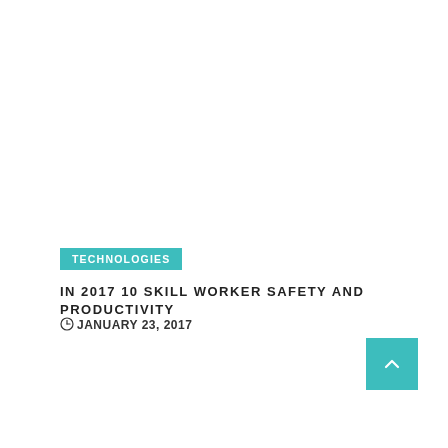TECHNOLOGIES
IN 2017 10 SKILL WORKER SAFETY AND PRODUCTIVITY
JANUARY 23, 2017
[Figure (other): Back to top button with upward arrow, teal/turquoise square button]